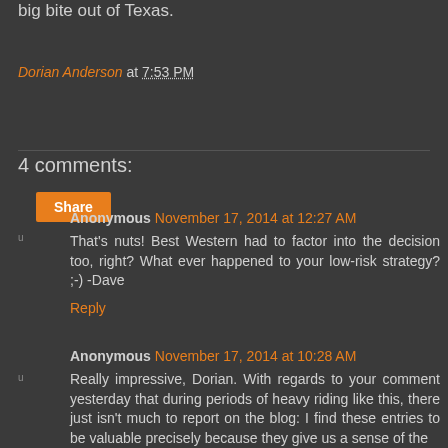big bite out of Texas.
Dorian Anderson at 7:53 PM
Share
4 comments:
Anonymous November 17, 2014 at 12:27 AM
That's nuts! Best Western had to factor into the decision too, right? What ever happened to your low-risk strategy? ;-) -Dave
Reply
Anonymous November 17, 2014 at 10:28 AM
Really impressive, Dorian. With regards to your comment yesterday that during periods of heavy riding like this, there just isn't much to report on the blog: I find these entries to be valuable precisely because they give us a sense of the